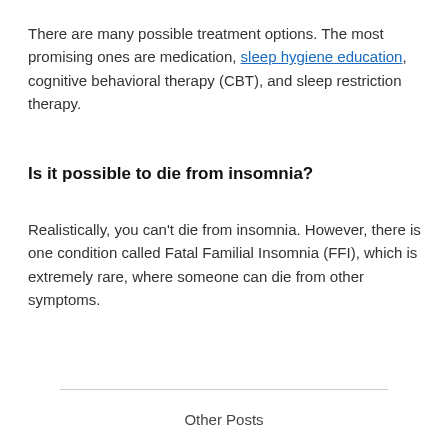There are many possible treatment options. The most promising ones are medication, sleep hygiene education, cognitive behavioral therapy (CBT), and sleep restriction therapy.
Is it possible to die from insomnia?
Realistically, you can’t die from insomnia. However, there is one condition called Fatal Familial Insomnia (FFI), which is extremely rare, where someone can die from other symptoms.
Other Posts